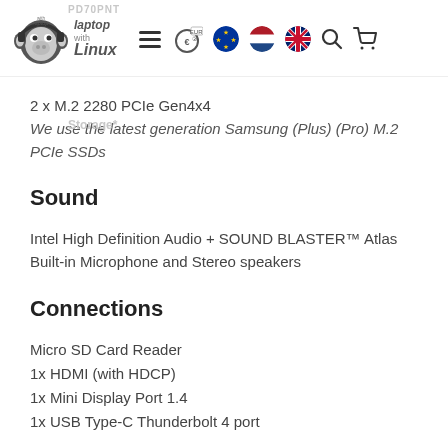Laptop with Linux — navigation header with logo, hamburger menu, currency selector, EU/NL/UK flags, search and cart icons
2 x M.2 2280 PCIe Gen4x4
We use the latest generation Samsung (Plus) (Pro) M.2 PCIe SSDs
Sound
Intel High Definition Audio + SOUND BLASTER™ Atlas
Built-in Microphone and Stereo speakers
Connections
Micro SD Card Reader
1x HDMI (with HDCP)
1x Mini Display Port 1.4
1x USB Type-C Thunderbolt 4 port